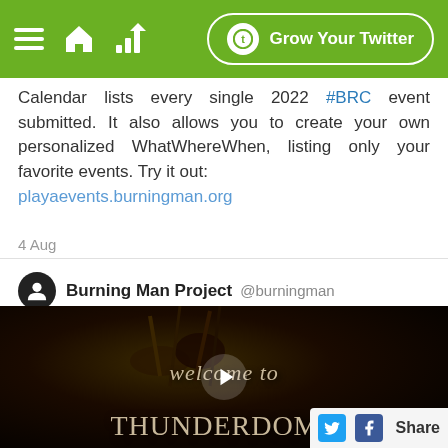Grow Your Twitter
Calendar lists every single 2022 #BRC event submitted. It also allows you to create your own personalized WhatWhereWhen, listing only your favorite events. Try it out:
playaevents.burningman.org
4 Aug
Burning Man Project @burningman
[Figure (screenshot): Video thumbnail showing performers at Burning Man with text 'welcome to THUNDERDOME' overlaid in gothic font on a dark background, with a play button in the center and a Share bar with Twitter and Facebook icons at bottom right.]